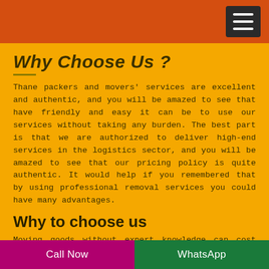Why Choose Us ?
Thane packers and movers' services are excellent and authentic, and you will be amazed to see that have friendly and easy it can be to use our services without taking any burden. The best part is that we are authorized to deliver high-end services in the logistics sector, and you will be amazed to see that our pricing policy is quite authentic. It would help if you remembered that by using professional removal services you could have many advantages.
Why to choose us
Moving goods without expert knowledge can cost you more, and you may damage your most special interest in the middle of the way. Therefore, despite taking the chance with your most precious items, it is better to use highly
Call Now | WhatsApp